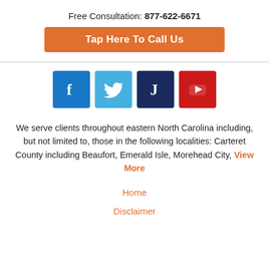Free Consultation: 877-622-6671
Tap Here To Call Us
[Figure (logo): Four social media icons: Facebook (blue), Twitter (light blue), Justia (dark navy), YouTube (red)]
We serve clients throughout eastern North Carolina including, but not limited to, those in the following localities: Carteret County including Beaufort, Emerald Isle, Morehead City, View More
Home
Disclaimer